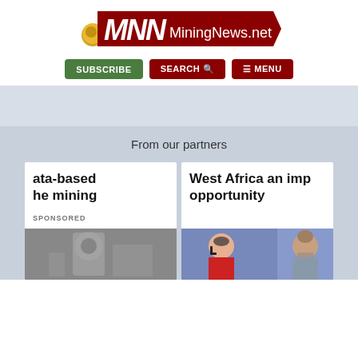[Figure (logo): MiningNews.net logo with dark red banner and stylized MNN letters]
SUBSCRIBE  SEARCH  MENU
From our partners
ata-based he mining
SPONSORED
West Africa an imp opportunity
[Figure (photo): Black and white X-ray or grayscale medical/industrial image]
[Figure (photo): Two people visible in a video call setting, one wearing headset and red jacket]